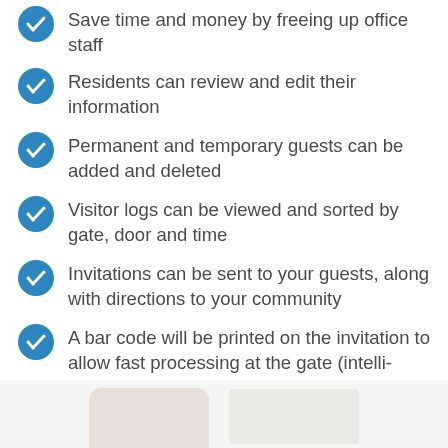Save time and money by freeing up office staff
Residents can review and edit their information
Permanent and temporary guests can be added and deleted
Visitor logs can be viewed and sorted by gate, door and time
Invitations can be sent to your guests, along with directions to your community
A bar code will be printed on the invitation to allow fast processing at the gate (intelli-pass)
[Figure (photo): Partial view of a smartphone and a map/document at the bottom of the page]